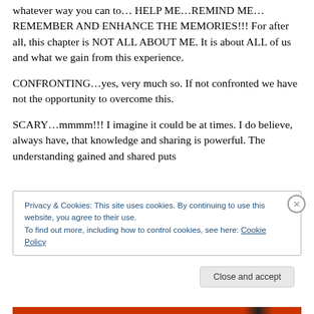whatever way you can to… HELP ME…REMIND ME…REMEMBER AND ENHANCE THE MEMORIES!!! For after all, this chapter is NOT ALL ABOUT ME. It is about ALL of us and what we gain from this experience.
CONFRONTING…yes, very much so. If not confronted we have not the opportunity to overcome this.
SCARY…mmmm!!! I imagine it could be at times. I do believe, always have, that knowledge and sharing is powerful. The understanding gained and shared puts
Privacy & Cookies: This site uses cookies. By continuing to use this website, you agree to their use.
To find out more, including how to control cookies, see here: Cookie Policy
Close and accept